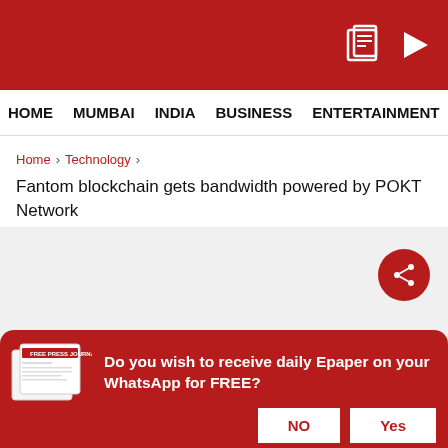[Figure (screenshot): Red header bar with newspaper icon and play button icon on the right]
HOME   MUMBAI   INDIA   BUSINESS   ENTERTAINMENT   PHO
Home › Technology › Fantom blockchain gets bandwidth powered by POKT Network
Fantom blockchain gets bandwidth powered by POKT Network
[Figure (other): Advertisement placeholder area with share button (red circle with share icon)]
ADVERTISEMENT
Do you wish to receive daily Epaper on your WhatsApp for FREE?